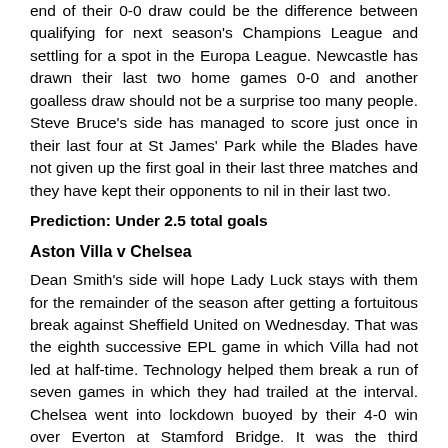end of their 0-0 draw could be the difference between qualifying for next season's Champions League and settling for a spot in the Europa League. Newcastle has drawn their last two home games 0-0 and another goalless draw should not be a surprise too many people. Steve Bruce's side has managed to score just once in their last four at St James' Park while the Blades have not given up the first goal in their last three matches and they have kept their opponents to nil in their last two.
Prediction: Under 2.5 total goals
Aston Villa v Chelsea
Dean Smith's side will hope Lady Luck stays with them for the remainder of the season after getting a fortuitous break against Sheffield United on Wednesday. That was the eighth successive EPL game in which Villa had not led at half-time. Technology helped them break a run of seven games in which they had trailed at the interval. Chelsea went into lockdown buoyed by their 4-0 win over Everton at Stamford Bridge. It was the third consecutive match in which Chelsea scored the first goal. Can Villa finally open the scoring for the first time in eight home games? Aston Villa's second half performances could decide the outcome of this encounter. The Villans have been outscored 6-